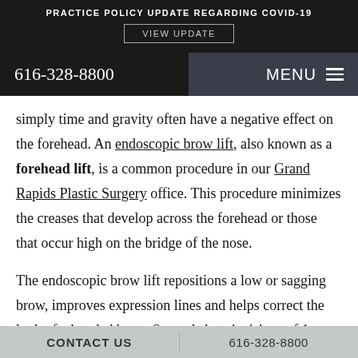PRACTICE POLICY UPDATE REGARDING COVID-19
VIEW UPDATE
616-328-8800   MENU
simply time and gravity often have a negative effect on the forehead. An endoscopic brow lift, also known as a forehead lift, is a common procedure in our Grand Rapids Plastic Surgery office. This procedure minimizes the creases that develop across the forehead or those that occur high on the bridge of the nose.
The endoscopic brow lift repositions a low or sagging brow, improves expression lines and helps correct the look of a hooded brow. Several short incisions of 1 cm are hidden within
CONTACT US   616-328-8800